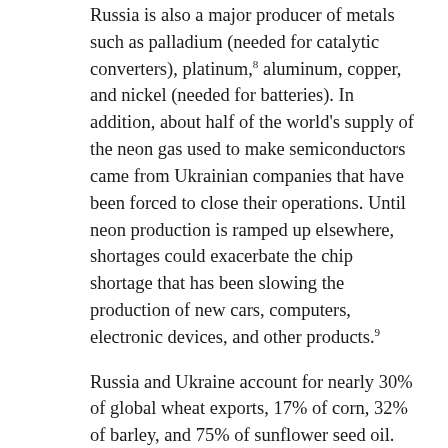Russia is also a major producer of metals such as palladium (needed for catalytic converters), platinum,8 aluminum, copper, and nickel (needed for batteries). In addition, about half of the world's supply of the neon gas used to make semiconductors came from Ukrainian companies that have been forced to close their operations. Until neon production is ramped up elsewhere, shortages could exacerbate the chip shortage that has been slowing the production of new cars, computers, electronic devices, and other products.9
Russia and Ukraine account for nearly 30% of global wheat exports, 17% of corn, 32% of barley, and 75% of sunflower seed oil. Financial sanctions have largely blocked Russia from exporting food, while the conflict has prevented Ukraine from transporting food out of the country. Russia is the world's top producer of fertilizer, providing about 15% of the global supply. Thus, crop yields throughout the world could be hindered by a shortage of fertilizer,